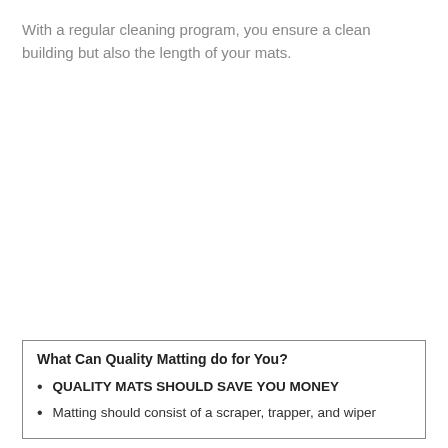With a regular cleaning program, you ensure a clean building but also the length of your mats.
What Can Quality Matting do for You?
QUALITY MATS SHOULD SAVE YOU MONEY
Matting should consist of a scraper, trapper, and wiper